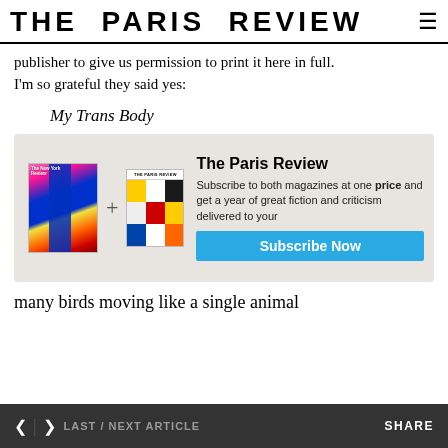THE PARIS REVIEW
publisher to give us permission to print it here in full. I'm so grateful they said yes:
My Trans Body
[Figure (infographic): Subscription advertisement showing two magazine covers (The New York Review and The Paris Review) side by side with a plus sign, alongside text 'The Paris Review' with 'Subscribe to both magazines at one price and get a year of great fiction and criticism delivered to your door.' and a blue 'Subscribe Now' button.]
many birds moving like a single animal
< > LAST / NEXT ARTICLE    SHARE